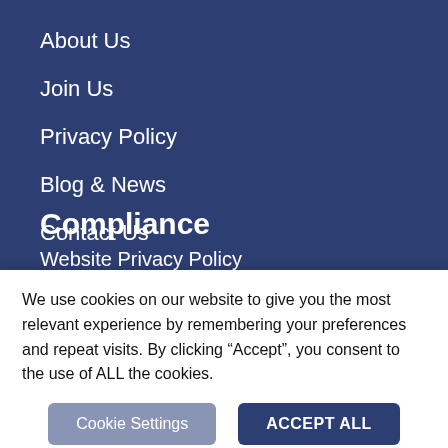About Us
Join Us
Privacy Policy
Blog & News
Contact Us
Compliance
Website Privacy Policy
Information Security & Privacy Policy
We use cookies on our website to give you the most relevant experience by remembering your preferences and repeat visits. By clicking “Accept”, you consent to the use of ALL the cookies.